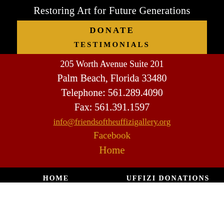Restoring Art for Future Generations
DONATE
TESTIMONIALS
205 Worth Avenue Suite 201
Palm Beach, Florida 33480
Telephone: 561.289.4090
Fax: 561.391.1597
info@friendsoftheuffizigallery.org
Facebook
Home
HOME   UFFIZI DONATIONS